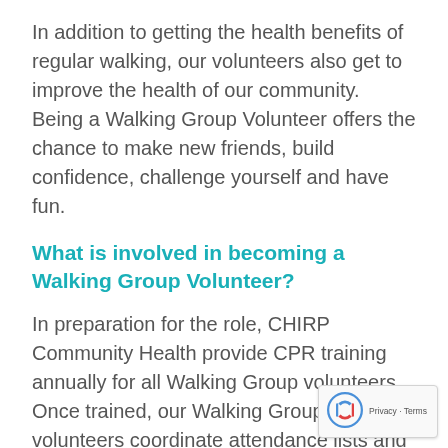In addition to getting the health benefits of regular walking, our volunteers also get to improve the health of our community. Being a Walking Group Volunteer offers the chance to make new friends, build confidence, challenge yourself and have fun.
What is involved in becoming a Walking Group Volunteer?
In preparation for the role, CHIRP Community Health provide CPR training annually for all Walking Group volunteers. Once trained, our Walking Group volunteers coordinate attendance lists and support organisation of morning tea where applicable. This volunteer position is